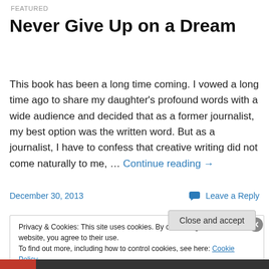FEATURED
Never Give Up on a Dream
This book has been a long time coming. I vowed a long time ago to share my daughter's profound words with a wide audience and decided that as a former journalist, my best option was the written word. But as a journalist, I have to confess that creative writing did not come naturally to me, … Continue reading →
December 30, 2013   Leave a Reply
Privacy & Cookies: This site uses cookies. By continuing to use this website, you agree to their use.
To find out more, including how to control cookies, see here: Cookie Policy
Close and accept